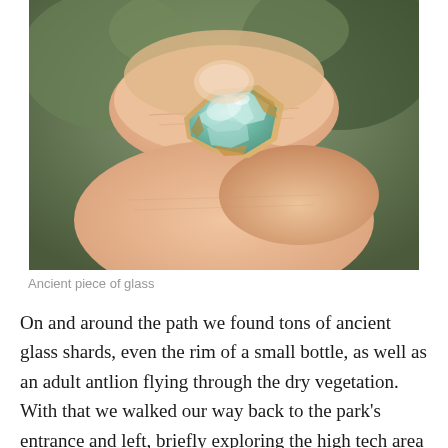[Figure (photo): A hand holding a small iridescent ancient piece of glass between two fingers, showing aqua/teal coloring with sandy/brown patches, photographed close-up against a blurred natural background.]
Ancient piece of glass
On and around the path we found tons of ancient glass shards, even the rim of a small bottle, as well as an adult antlion flying through the dry vegetation. With that we walked our way back to the park's entrance and left, briefly exploring the high tech area of Herzliya before parting